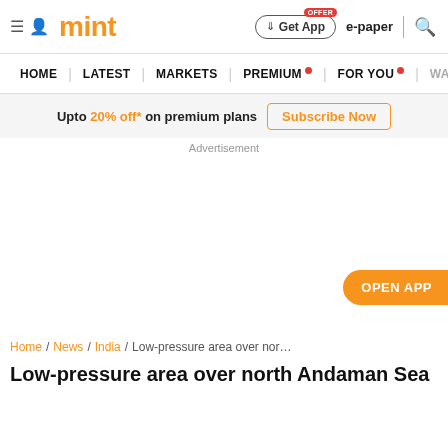mint — Get App | e-paper | search
HOME | LATEST | MARKETS | PREMIUM | FOR YOU | WA...
Upto 20% off* on premium plans  Subscribe Now
Advertisement
OPEN APP
Home / News / India / Low-pressure area over north Anda...
Low-pressure area over north Andaman Sea